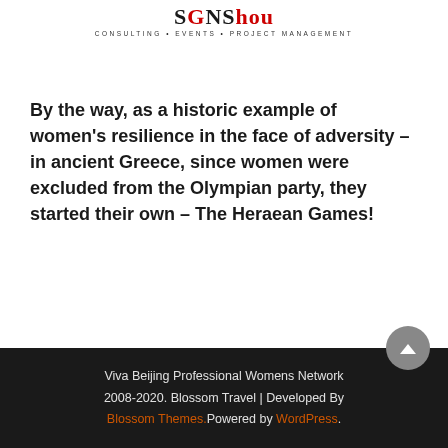[Figure (logo): Company logo with stylized text and tagline: CONSULTING • EVENTS • PROJECT MANAGEMENT]
By the way, as a historic example of women's resilience in the face of adversity – in ancient Greece, since women were excluded from the Olympian party, they started their own – The Heraean Games!
Viva Beijing Professional Womens Network 2008-2020. Blossom Travel | Developed By Blossom Themes.Powered by WordPress.